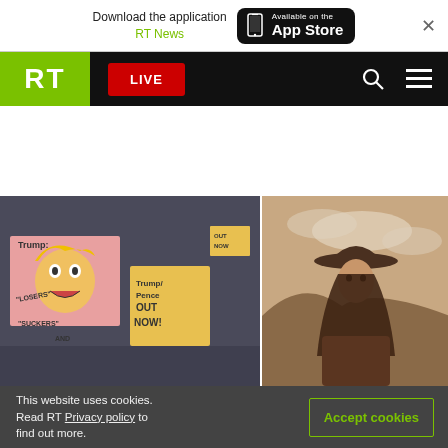Download the application RT News | Available on the App Store
RT LIVE
[Figure (photo): Protest signs showing Trump caricature with 'SUCKERS AND LOSERS' text and 'Trump/Pence OUT NOW!' sign]
[Figure (photo): Young woman wearing cowboy hat in sepia-toned outdoor scene]
This website uses cookies. Read RT Privacy policy to find out more.
Accept cookies